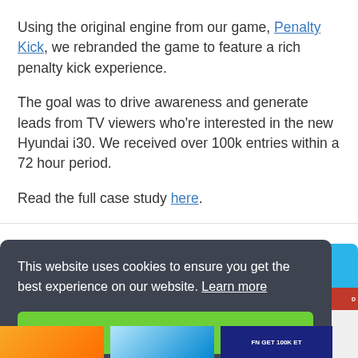Using the original engine from our game, Penalty Kick, we rebranded the game to feature a rich penalty kick experience.
The goal was to drive awareness and generate leads from TV viewers who're interested in the new Hyundai i30. We received over 100k entries within a 72 hour period.
Read the full case study here.
This website uses cookies to ensure you get the best experience on our website. Learn more
Got it!
[Figure (screenshot): Partial view of a mobile phone screen showing app screenshots at the bottom of the page]